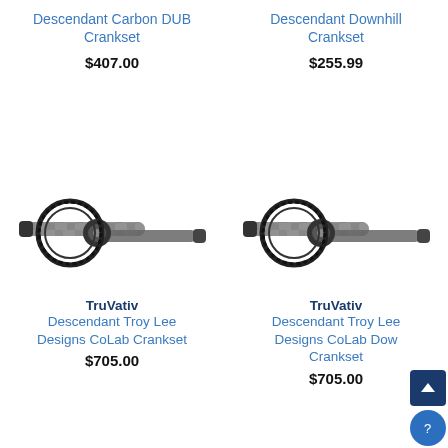Descendant Carbon DUB Crankset
$407.00
Descendant Downhill Crankset
$255.99
[Figure (photo): TruVativ Descendant crankset with chainring, camo pattern arms, left side view]
[Figure (photo): TruVativ Descendant crankset with chainring, camo pattern arms, left side view]
TruVativ
Descendant Troy Lee Designs CoLab Crankset
$705.00
TruVativ
Descendant Troy Lee Designs CoLab Downhill Crankset
$705.00